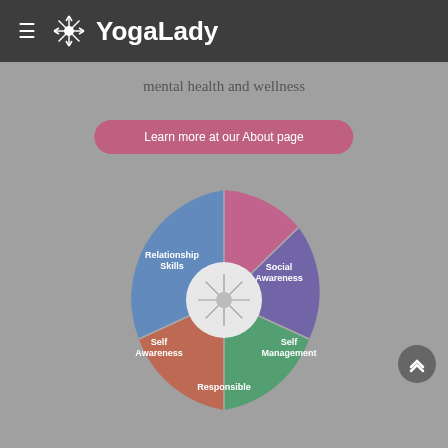YogaLady
mental health and wellness
Learn more at our About page
[Figure (pie-chart): Emotional Intelligence Components]